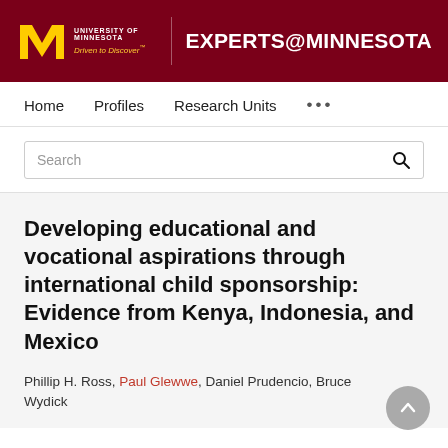UNIVERSITY OF MINNESOTA Driven to Discover™ EXPERTS@MINNESOTA
Home   Profiles   Research Units   •••
Search
Developing educational and vocational aspirations through international child sponsorship: Evidence from Kenya, Indonesia, and Mexico
Phillip H. Ross, Paul Glewwe, Daniel Prudencio, Bruce Wydick